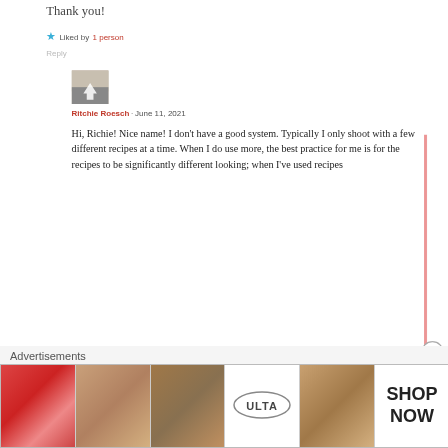Thank you!
★ Liked by 1 person
Reply
[Figure (photo): Avatar thumbnail of Ritchie Roesch, grayscale photo of a person with an arrow/upload icon overlay]
Ritchie Roesch · June 11, 2021
Hi, Richie! Nice name! I don't have a good system. Typically I only shoot with a few different recipes at a time. When I do use more, the best practice for me is for the recipes to be significantly different looking; when I've used recipes
Advertisements
[Figure (photo): Ulta Beauty advertisement banner with makeup/cosmetics imagery and SHOP NOW call to action]